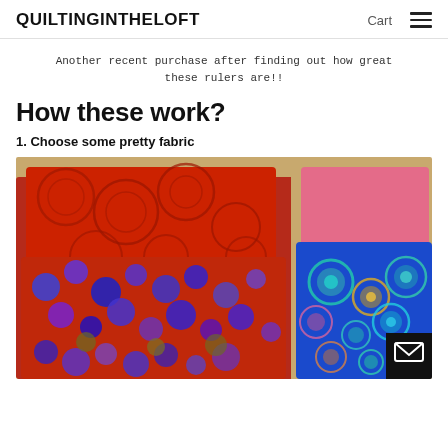QUILTINGINTHELOFT | Cart
Another recent purchase after finding out how great these rulers are!!
How these work?
1. Choose some pretty fabric
[Figure (photo): Folded fabric swatches on a wooden table: red circular patterned fabric, blue and orange dotted fabric on the left; pink solid fabric and blue floral/circular patterned fabric on the right.]